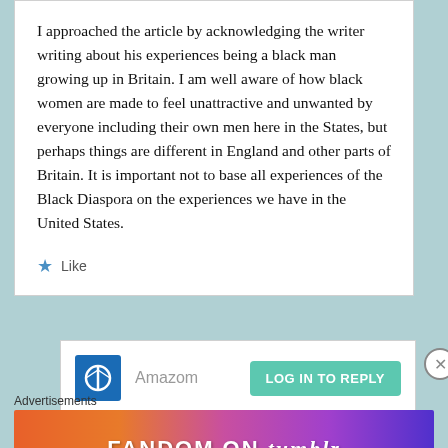I approached the article by acknowledging the writer writing about his experiences being a black man growing up in Britain. I am well aware of how black women are made to feel unattractive and unwanted by everyone including their own men here in the States, but perhaps things are different in England and other parts of Britain. It is important not to base all experiences of the Black Diaspora on the experiences we have in the United States.
Like
[Figure (screenshot): Reply box with blue avatar icon, username placeholder 'Amazom', and a teal 'LOG IN TO REPLY' button]
Advertisements
[Figure (infographic): Fandom on Tumblr advertisement banner with colorful gradient background and bold white text]